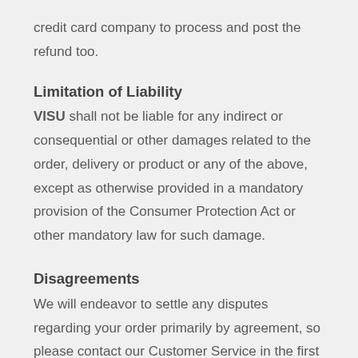credit card company to process and post the refund too.
Limitation of Liability
VISU shall not be liable for any indirect or consequential or other damages related to the order, delivery or product or any of the above, except as otherwise provided in a mandatory provision of the Consumer Protection Act or other mandatory law for such damage.
Disagreements
We will endeavor to settle any disputes regarding your order primarily by agreement, so please contact our Customer Service in the first instance to arrange the matter.